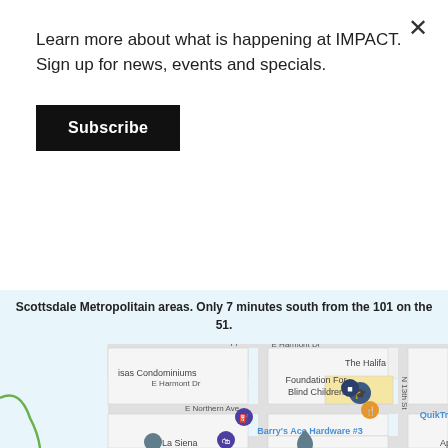Learn more about what is happening at IMPACT. Sign up for news, events and specials.
Subscribe
Scottsdale Metropolitain areas. Only 7 minutes south from the 101 on the 51.
[Figure (map): Google Maps screenshot showing area near E Harmont Dr and E Northern Ave in Phoenix/Scottsdale area, with landmarks including Foundation For Blind Children, QuikTrip, Barry's Ace Hardware #3, La Siena, and N 13th St.]